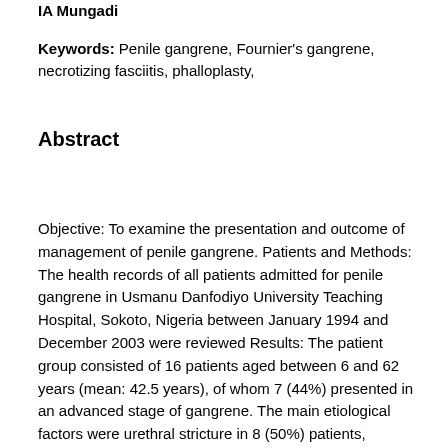IA Mungadi
Keywords: Penile gangrene, Fournier's gangrene, necrotizing fasciitis, phalloplasty,
Abstract
Objective: To examine the presentation and outcome of management of penile gangrene. Patients and Methods: The health records of all patients admitted for penile gangrene in Usmanu Danfodiyo University Teaching Hospital, Sokoto, Nigeria between January 1994 and December 2003 were reviewed Results: The patient group consisted of 16 patients aged between 6 and 62 years (mean: 42.5 years), of whom 7 (44%) presented in an advanced stage of gangrene. The main etiological factors were urethral stricture in 8 (50%) patients, associated with diabetes mellitus in 2 (13%), impacted urethral calculus in 3 (19%), circumcision in 2 (13%), priapism in sickle cell disease in 2 (13%) and trauma in 1 (6%). All patients were initially treated by suprapubic catheterization, broadspectrum antibiotics,